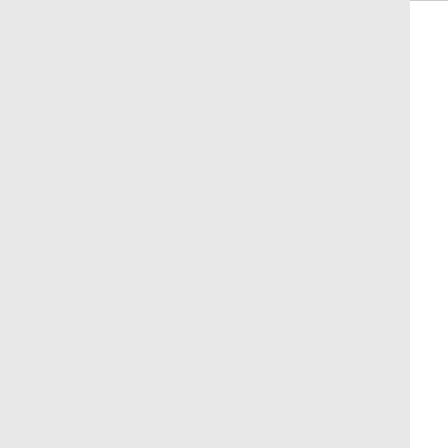| Number | State | Company | Code |  |
| --- | --- | --- | --- | --- |
| 860-506-3 | CT | LEVEL 3 COMMUNICATIONS, LLC - (CenturyLink, Inc) | 4800 |  |
| Thousands block for 860-509 |  |  |  |  |
| 860-509-4 | CT | LEVEL 3 COMMUNICATIONS, LLC - (CenturyLink, Inc) | 4800 |  |